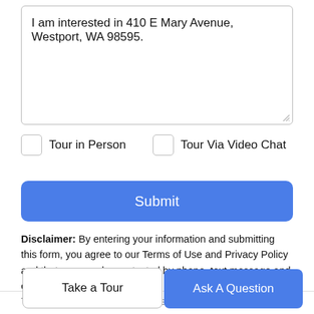I am interested in 410 E Mary Avenue, Westport, WA 98595.
Tour in Person
Tour Via Video Chat
Submit
Disclaimer: By entering your information and submitting this form, you agree to our Terms of Use and Privacy Policy and that you may be contacted by phone, text message and email about your inquiry.
The listing data relating to real estate for sale on this web site
Take a Tour
Ask A Question